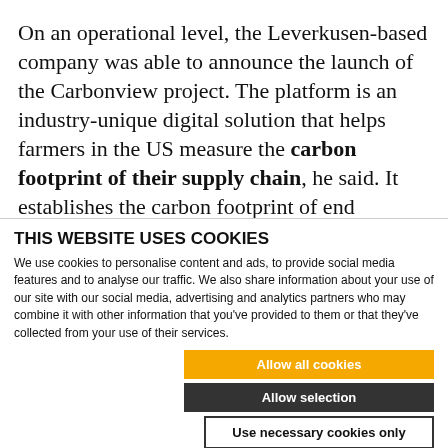On an operational level, the Leverkusen-based company was able to announce the launch of the Carbonview project. The platform is an industry-unique digital solution that helps farmers in the US measure the carbon footprint of their supply chain, he said. It establishes the carbon footprint of end products, enabling them to
THIS WEBSITE USES COOKIES
We use cookies to personalise content and ads, to provide social media features and to analyse our traffic. We also share information about your use of our site with our social media, advertising and analytics partners who may combine it with other information that you've provided to them or that they've collected from your use of their services.
Allow all cookies | Allow selection | Use necessary cookies only
Necessary  Preferences  Statistics  Show details  Marketing